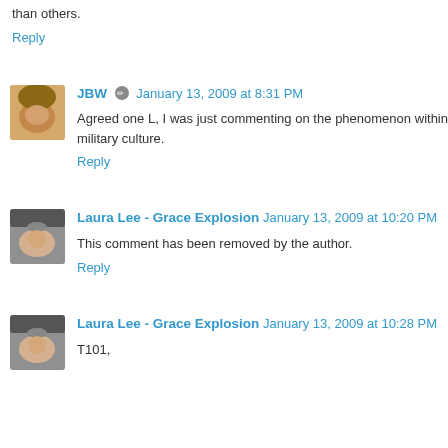than others.
Reply
JBW January 13, 2009 at 8:31 PM
Agreed one L, I was just commenting on the phenomenon within military culture.
Reply
Laura Lee - Grace Explosion January 13, 2009 at 10:20 PM
This comment has been removed by the author.
Reply
Laura Lee - Grace Explosion January 13, 2009 at 10:28 PM
T101,